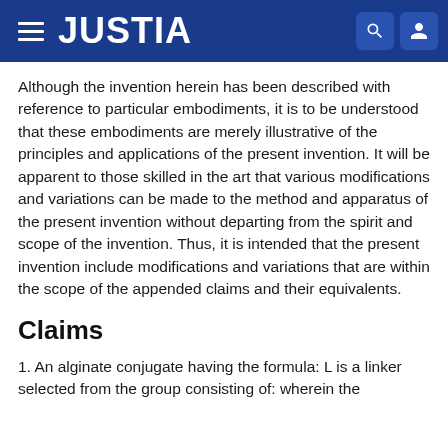JUSTIA
Although the invention herein has been described with reference to particular embodiments, it is to be understood that these embodiments are merely illustrative of the principles and applications of the present invention. It will be apparent to those skilled in the art that various modifications and variations can be made to the method and apparatus of the present invention without departing from the spirit and scope of the invention. Thus, it is intended that the present invention include modifications and variations that are within the scope of the appended claims and their equivalents.
Claims
1. An alginate conjugate having the formula: L is a linker selected from the group consisting of: wherein the